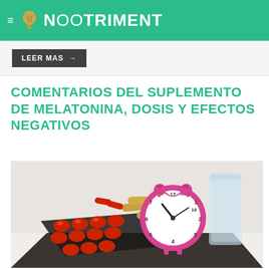NOOTRIMENT
LEER MAS →
COMENTARIOS DEL SUPLEMENTO DE MELATONINA, DOSIS Y EFECTOS NEGATIVOS
[Figure (photo): Photo of red pills in blister pack, yellow capsules, a pink alarm clock showing approximately 10:10, and a glass of water on a white background — melatonin supplement imagery]